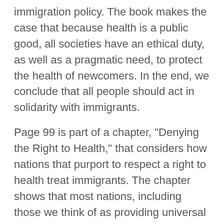immigration policy. The book makes the case that because health is a public good, all societies have an ethical duty, as well as a pragmatic need, to protect the health of newcomers. In the end, we conclude that all people should act in solidarity with immigrants.
Page 99 is part of a chapter, "Denying the Right to Health," that considers how nations that purport to respect a right to health treat immigrants. The chapter shows that most nations, including those we think of as providing universal health care, fail to ensure equal access to health care to at least some classes of immigrants. After establishing that international law creates a right to health, we ask on page 99: “What about noncitizen newcomers? Does the right to health apply to them?” We review several sources of international law, including the International Covenant on Economic and Social Rights (which the U.S. signed but did not ratify) and the United Nations Declaration on the